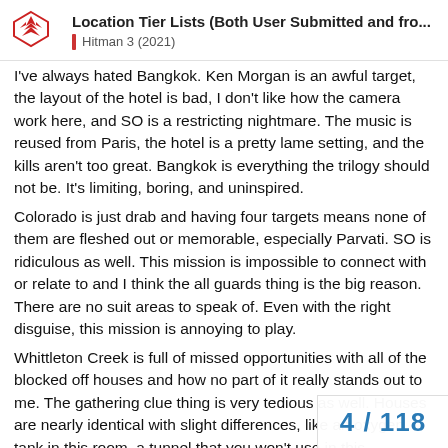Location Tier Lists (Both User Submitted and fro... | Hitman 3 (2021)
I've always hated Bangkok. Ken Morgan is an awful target, the layout of the hotel is bad, I don't like how the camera work here, and SO is a restricting nightmare. The music is reused from Paris, the hotel is a pretty lame setting, and the kills aren't too great. Bangkok is everything the trilogy should not be. It's limiting, boring, and uninspired.
Colorado is just drab and having four targets means none of them are fleshed out or memorable, especially Parvati. SO is ridiculous as well. This mission is impossible to connect with or relate to and I think the all guards thing is the big reason. There are no suit areas to speak of. Even with the right disguise, this mission is annoying to play.
Whittleton Creek is full of missed opportunities with all of the blocked off houses and how no part of it really stands out to me. The gathering clue thing is very tedious as well. Houses are nearly identical with slight differences, like an oxygen tank in this room, a tunnel that you won't use in this basement, a fumigation unit here. The targets have lam fun to take out. While I like Janus' characte
4 / 118